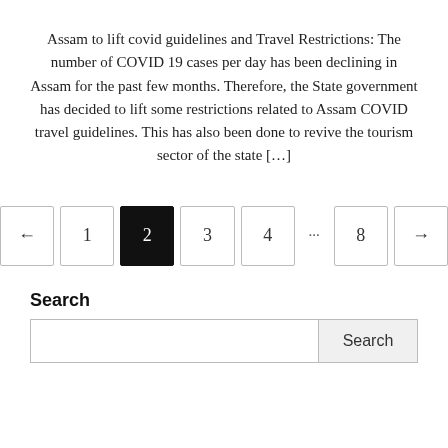Assam to lift covid guidelines and Travel Restrictions: The number of COVID 19 cases per day has been declining in Assam for the past few months. Therefore, the State government has decided to lift some restrictions related to Assam COVID travel guidelines. This has also been done to revive the tourism sector of the state […]
[Figure (other): Pagination control with left arrow, page numbers 1, 2 (active/current), 3, 4, ellipsis, 8, and right arrow]
Search
[Figure (other): Search bar with text input field and Search button]